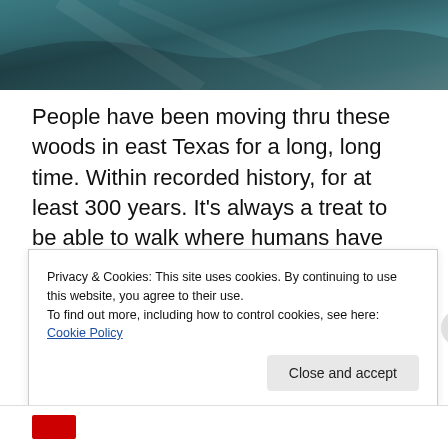[Figure (photo): Aerial or landscape photo of woods/forest in east Texas, teal/dark blue-green tones]
People have been moving thru these woods in east Texas for a long, long time. Within recorded history, for at least 300 years. It's always a treat to be able to walk where humans have been known to walk for quite awhile!
Privacy & Cookies: This site uses cookies. By continuing to use this website, you agree to their use.
To find out more, including how to control cookies, see here: Cookie Policy
Close and accept